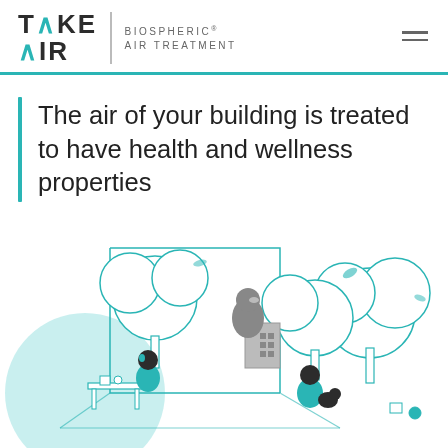TAKE AIR | BIOSPHERIC® AIR TREATMENT
The air of your building is treated to have health and wellness properties
[Figure (illustration): Isometric illustration showing a room interior with people working, surrounded by stylized trees and foliage in teal and white outlines, depicting biospheric air treatment concept with a building in the background]